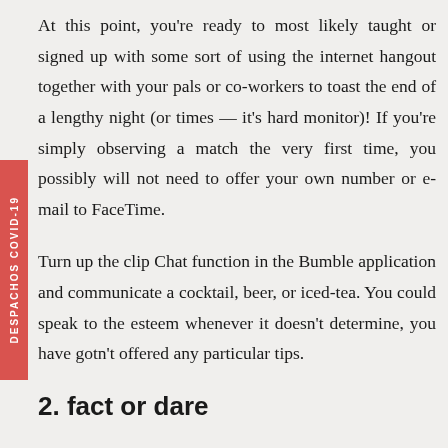At this point, you're ready to most likely taught or signed up with some sort of using the internet hangout together with your pals or co-workers to toast the end of a lengthy night (or times — it's hard monitor)! If you're simply observing a match the very first time, you possibly will not need to offer your own number or e-mail to FaceTime.
Turn up the clip Chat function in the Bumble application and communicate a cocktail, beer, or iced-tea. You could speak to the esteem whenever it doesn't determine, you have gotn't offered any particular tips.
2. fact or dare